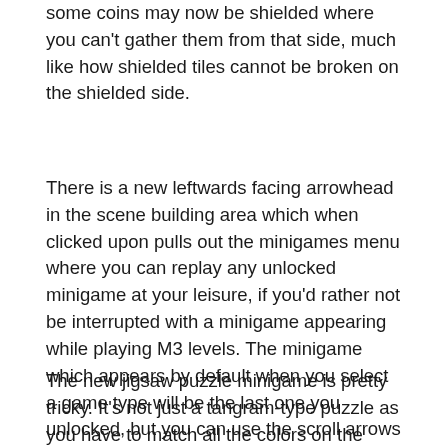some coins may now be shielded where you can't gather them from that side, much like how shielded tiles cannot be broken on the shielded side.
There is a new leftwards facing arrowhead in the scene building area which when clicked upon pulls out the minigames menu where you can replay any unlocked minigame at your leisure, if you'd rather not be interrupted with a minigame appearing while playing M3 levels. The minigame which appears by default when you select a game type will be the last one you unlocked, but you can use the scroll arrows at the top of the screen to go to earlier ones.
The new jigsaw puzzle minigame is pretty tricky. It's not just a tangram-type puzzle as you have to match all the colors on the edges of each piece too. The way I finally figured out how to solve these puzzles without using the hint button is to line up all the pieces outside of the frame first focusing only on matching up all the colors. Then if your “finished” layout is not